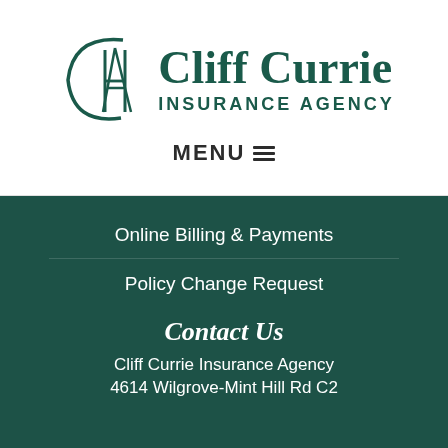[Figure (logo): Cliff Currie Insurance Agency logo with stylized CHA monogram and company name in dark green]
MENU ☰
Online Billing & Payments
Policy Change Request
Contact Us
Cliff Currie Insurance Agency
4614 Wilgrove-Mint Hill Rd C2